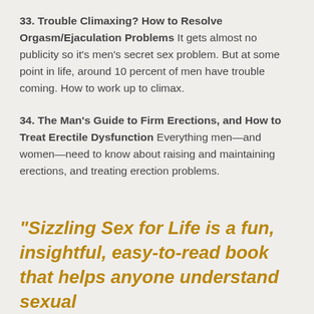33. Trouble Climaxing? How to Resolve Orgasm/Ejaculation Problems It gets almost no publicity so it's men's secret sex problem. But at some point in life, around 10 percent of men have trouble coming. How to work up to climax.
34. The Man's Guide to Firm Erections, and How to Treat Erectile Dysfunction Everything men—and women—need to know about raising and maintaining erections, and treating erection problems.
"Sizzling Sex for Life is a fun, insightful, easy-to-read book that helps anyone understand sexual...